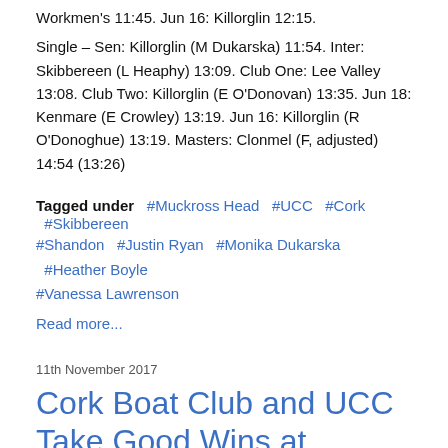Workmen's 11:45. Jun 16: Killorglin 12:15.
Single – Sen: Killorglin (M Dukarska) 11:54. Inter: Skibbereen (L Heaphy) 13:09. Club One: Lee Valley 13:08. Club Two: Killorglin (E O'Donovan) 13:35. Jun 18: Kenmare (E Crowley) 13:19. Jun 16: Killorglin (R O'Donoghue) 13:19. Masters: Clonmel (F, adjusted) 14:54 (13:26)
Tagged under  #Muckross Head  #UCC  #Cork  #Skibbereen  #Shandon  #Justin Ryan  #Monika Dukarska  #Heather Boyle  #Vanessa Lawrenson
Read more...
11th November 2017
Cork Boat Club and UCC Take Good Wins at Skibbereen Head